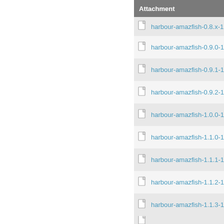| Attachment |
| --- |
| harbour-amazfish-0.8.x-1.am... |
| harbour-amazfish-0.9.0-1.am... |
| harbour-amazfish-0.9.1-1.am... |
| harbour-amazfish-0.9.2-1.am... |
| harbour-amazfish-1.0.0-1.am... |
| harbour-amazfish-1.1.0-1.am... |
| harbour-amazfish-1.1.1-1.am... |
| harbour-amazfish-1.1.2-1.am... |
| harbour-amazfish-1.1.3-1.am... |
| harbour-amazfish-... |